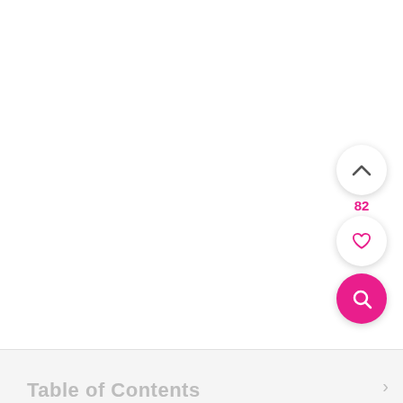[Figure (screenshot): Mobile app UI screenshot showing a white content area with three floating action buttons on the right side: an up-chevron button (white circle), a count of 82, a heart/like button (white circle with pink heart), and a search button (pink circle with white magnifying glass). At the bottom is a gray panel with 'Table of Contents' text partially visible.]
82
Table of Contents